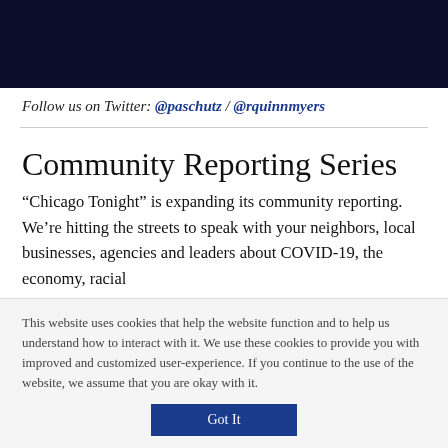[Figure (photo): Dark navy/black banner image at top of page]
Follow us on Twitter: @paschutz / @rquinnmyers
Community Reporting Series
“Chicago Tonight” is expanding its community reporting. We’re hitting the streets to speak with your neighbors, local businesses, agencies and leaders about COVID-19, the economy, racial
This website uses cookies that help the website function and to help us understand how to interact with it. We use these cookies to provide you with improved and customized user-experience. If you continue to the use of the website, we assume that you are okay with it.
Got It